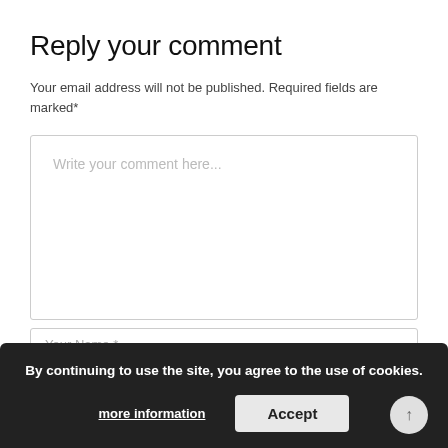Reply your comment
Your email address will not be published. Required fields are marked*
[Figure (screenshot): Text area input box with placeholder text 'Write your comment here...']
[Figure (screenshot): Input field with placeholder text 'Your Name *']
[Figure (screenshot): Cookie consent banner with text 'By continuing to use the site, you agree to the use of cookies.' and buttons 'more information' and 'Accept']
[Figure (screenshot): Input field with placeholder text 'Your Email *']